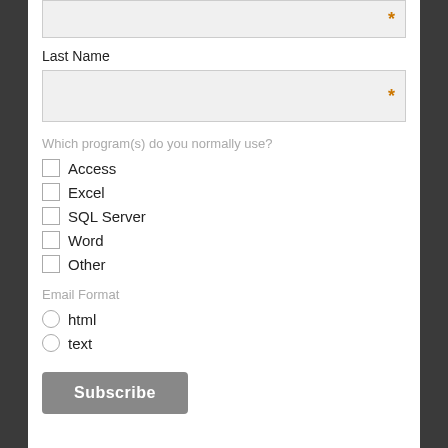Last Name
* (required field)
Which program(s) do you normally use?
Access
Excel
SQL Server
Word
Other
Email Format
html
text
Subscribe